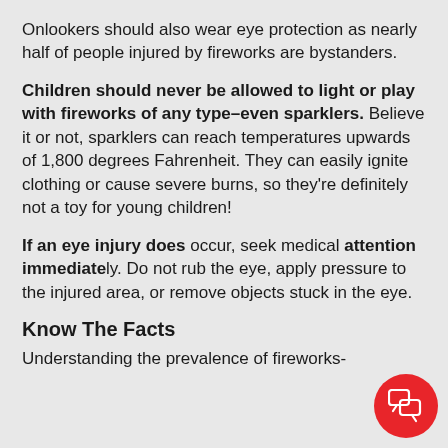Onlookers should also wear eye protection as nearly half of people injured by fireworks are bystanders.
Children should never be allowed to light or play with fireworks of any type–even sparklers. Believe it or not, sparklers can reach temperatures upwards of 1,800 degrees Fahrenheit. They can easily ignite clothing or cause severe burns, so they're definitely not a toy for young children!
If an eye injury does occur, seek medical attention immediately. Do not rub the eye, apply pressure to the injured area, or remove objects stuck in the eye.
Know The Facts
Understanding the prevalence of fireworks-
[Figure (other): Chat popup overlay with 'Got a question? Text us!' message and red chat button]